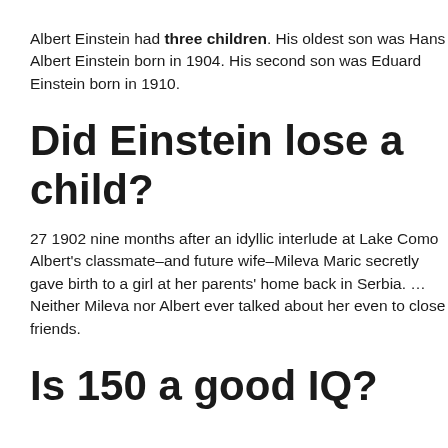Albert Einstein had three children. His oldest son was Hans Albert Einstein born in 1904. His second son was Eduard Einstein born in 1910.
Did Einstein lose a child?
27 1902 nine months after an idyllic interlude at Lake Como Albert's classmate–and future wife–Mileva Maric secretly gave birth to a girl at her parents' home back in Serbia. … Neither Mileva nor Albert ever talked about her even to close friends.
Is 150 a good IQ?